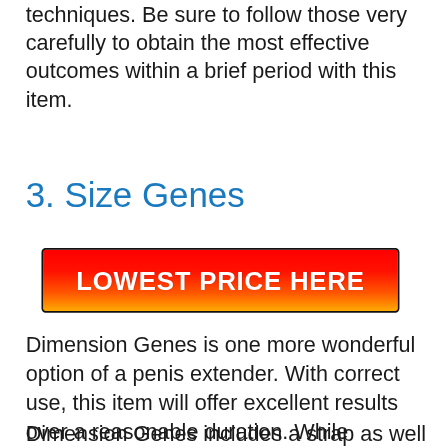techniques. Be sure to follow those very carefully to obtain the most effective outcomes within a brief period with this item.
3. Size Genes
[Figure (other): A red-to-orange gradient button with black border and white bold text reading 'LOWEST PRICE HERE']
Dimension Genes is one more wonderful option of a penis extender. With correct use, this item will offer excellent results over a reasonable duration. While functioning, it will certainly preserve a steady comfort level throughout the process.
Dimension Genes includes a strap as well as a loophole to make sure that you can